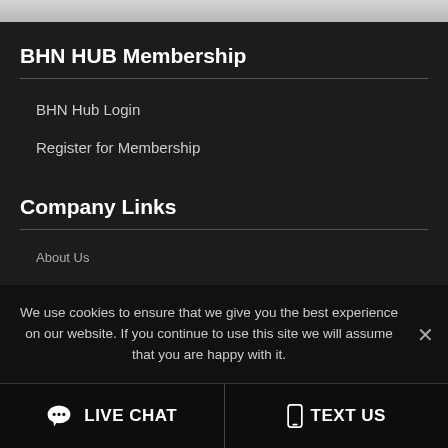BHN HUB Membership
BHN Hub Login
Register for Membership
Company Links
About Us
We use cookies to ensure that we give you the best experience on our website. If you continue to use this site we will assume that you are happy with it.
LIVE CHAT   TEXT US